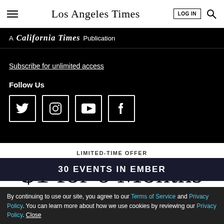Los Angeles Times
A California Times Publication
Subscribe for unlimited access
Follow Us
[Figure (other): Social media icons: Twitter, Instagram, YouTube, Facebook in white square boxes on black background]
LIMITED-TIME OFFER
$1 for 6 Months
SUBSCRIBE NOW
By continuing to use our site, you agree to our Terms of Service and Privacy Policy. You can learn more about how we use cookies by reviewing our Privacy Policy. Close